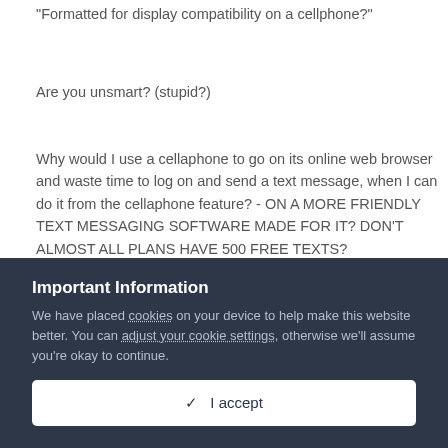"Formatted for display compatibility on a cellphone?"
Are you unsmart? (stupid?)
Why would I use a cellaphone to go on its online web browser and waste time to log on and send a text message, when I can do it from the cellaphone feature? - ON A MORE FRIENDLY TEXT MESSAGING SOFTWARE MADE FOR IT? DON'T ALMOST ALL PLANS HAVE 500 FREE TEXTS?
Important Information
We have placed cookies on your device to help make this website better. You can adjust your cookie settings, otherwise we'll assume you're okay to continue.
✓  I accept